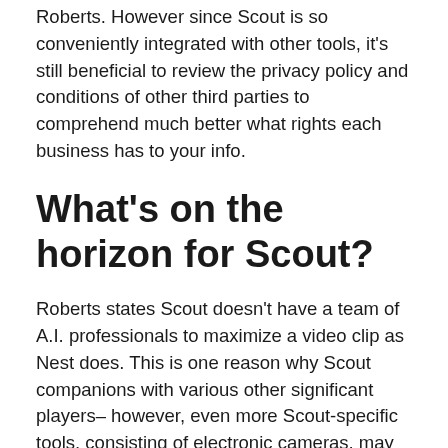Roberts. However since Scout is so conveniently integrated with other tools, it's still beneficial to review the privacy policy and conditions of other third parties to comprehend much better what rights each business has to your info.
What's on the horizon for Scout?
Roberts states Scout doesn't have a team of A.I. professionals to maximize a video clip as Nest does. This is one reason why Scout companions with various other significant players– however, even more Scout-specific tools, consisting of electronic cameras, may be on the means.